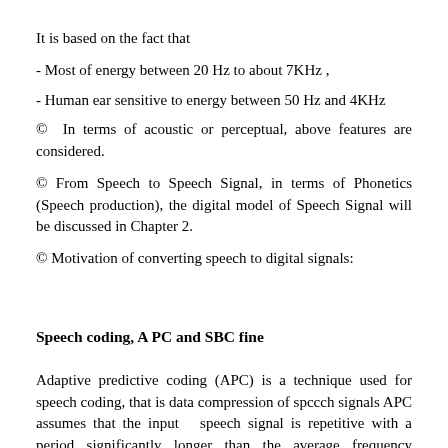It is based on the fact that
- Most of energy between 20 Hz to about 7KHz ,
- Human ear sensitive to energy between 50 Hz and 4KHz
© In terms of acoustic or perceptual, above features are considered.
© From Speech to Speech Signal, in terms of Phonetics (Speech production), the digital model of Speech Signal will be discussed in Chapter 2.
© Motivation of converting speech to digital signals:
Speech coding, A PC and SBC fine
Adaptive predictive coding (APC) is a technique used for speech coding, that is data compression of spccch signals APC assumes that the input  speech signal is repetitive with a period significantly longer than the average frequency content. Two